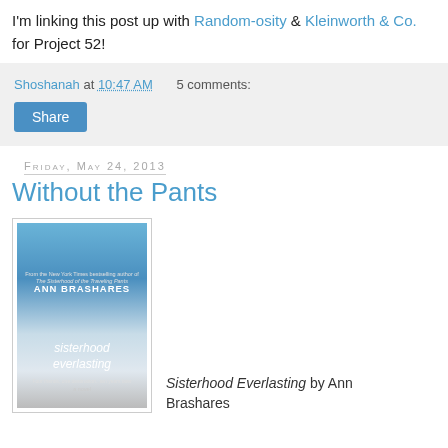I'm linking this post up with Random-osity & Kleinworth & Co. for Project 52!
Shoshanah at 10:47 AM   5 comments:
Share
Friday, May 24, 2013
Without the Pants
[Figure (photo): Book cover of Sisterhood Everlasting by Ann Brashares]
Sisterhood Everlasting by Ann Brashares